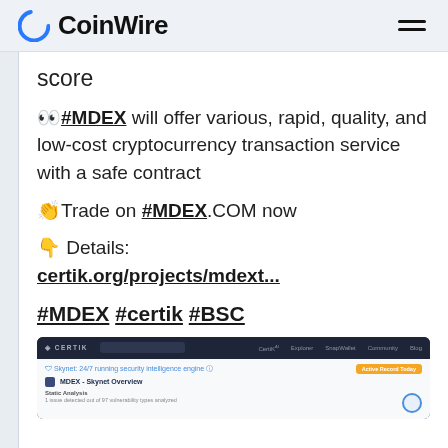CoinWire
score
👀 #MDEX will offer various, rapid, quality, and low-cost cryptocurrency transaction service with a safe contract
👏Trade on #MDEX.COM now
👇 Details: certik.org/projects/mdext...
#MDEX #certik #BSC
[Figure (screenshot): Screenshot of the CertiK website showing MDEX - Skynet Overview page with Static Analysis section]